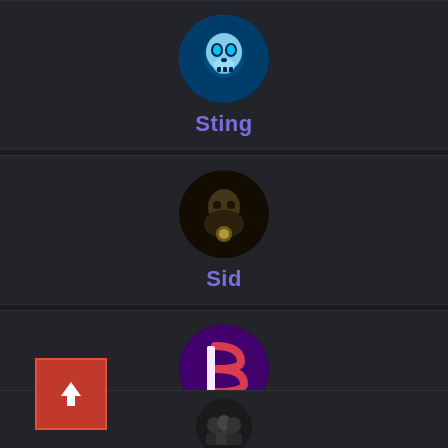[Figure (screenshot): User profile list item: Sting with skull avatar]
Sting
[Figure (screenshot): User profile list item: Sid with dark fantasy avatar]
Sid
[Figure (screenshot): User profile list item: BOnes with purple B logo avatar and red upload button overlay]
BOnes
[Figure (screenshot): Partially visible fourth user profile at bottom]